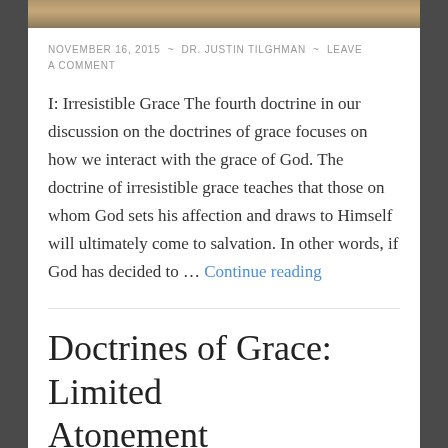[Figure (photo): Partial view of a photograph at the top of the page, showing a warm-toned scene.]
NOVEMBER 16, 2015 ~ DR. JUSTIN TILGHMAN ~ LEAVE A COMMENT
I: Irresistible Grace The fourth doctrine in our discussion on the doctrines of grace focuses on how we interact with the grace of God. The doctrine of irresistible grace teaches that those on whom God sets his affection and draws to Himself will ultimately come to salvation. In other words, if God has decided to … Continue reading
Doctrines of Grace: Limited Atonement